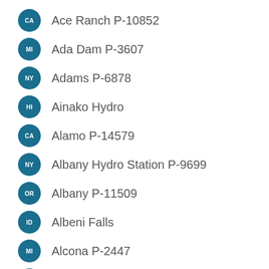CA  Ace Ranch P-10852
MI  Ada Dam P-3607
NY  Adams P-6878
HI  Ainako Hydro
CA  Alamo P-14579
NY  Albany Hydro Station P-9699
OR  Albany P-11509
ID  Albeni Falls
MI  Alcona P-2447
WY  Alcova